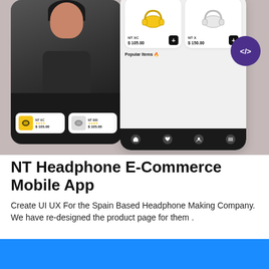[Figure (screenshot): Mobile app UI mockups for NT Headphone E-Commerce app. Left: dark-themed phone showing a woman with headphones and two product cards ($105.00). Right: light-themed phone showing yellow and white headphone products (NT XC $105.00, NT X $150.00) with Popular Items section and bottom navigation bar. Purple code badge overlay on right side.]
NT Headphone E-Commerce Mobile App
Create UI UX For the Spain Based Headphone Making Company. We have re-designed the product page for them .